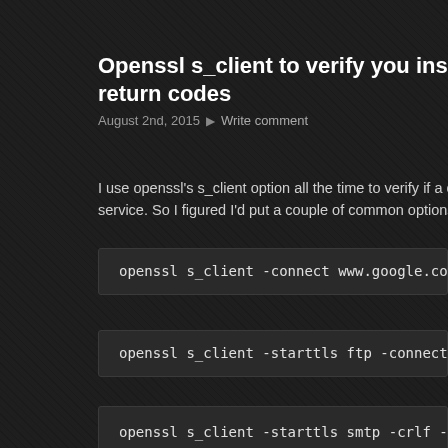Openssl s_client to verify you installed your certificate properly and return codes
August 2nd, 2015  ▶ Write comment
I use openssl's s_client option all the time to verify if a certificate is still good or in service. So I figured I'd put a couple of common options down on paper for future reference.
openssl s_client -connect www.google.com:443    #HTTPS
openssl s_client -starttls ftp -connect some_ftp_serve
openssl s_client -starttls smtp -crlf -connect smtp.gm
openssl s_client -starttls smtp -crlf -connect smtp▲gm
openssl s_client -starttls imap -crlf -connect some_im
openssl s_client -connect imap.gmail.com:993    #IMAP
openssl s_client -connect pop.gmail.com:995     #POPS